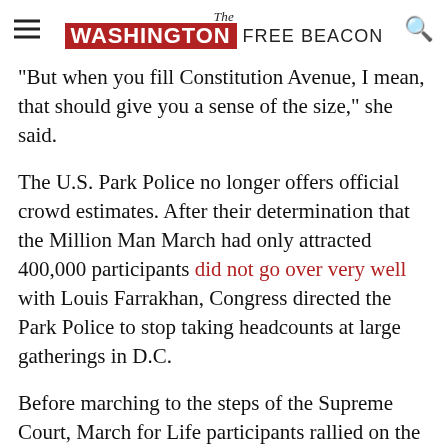The Washington Free Beacon
"But when you fill Constitution Avenue, I mean, that should give you a sense of the size," she said.
The U.S. Park Police no longer offers official crowd estimates. After their determination that the Million Man March had only attracted 400,000 participants did not go over very well with Louis Farrakhan, Congress directed the Park Police to stop taking headcounts at large gatherings in D.C.
Before marching to the steps of the Supreme Court, March for Life participants rallied on the Mall and heard from pro-life leaders such as